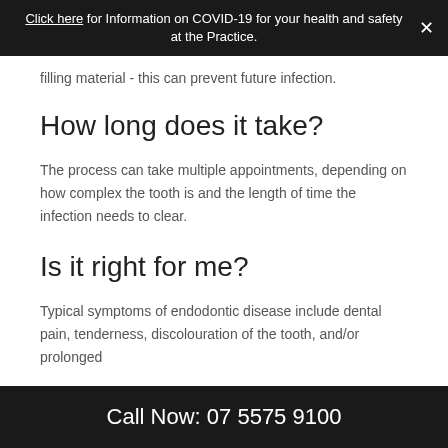Click here for Information on COVID-19 for your health and safety at the Practice.
filling material - this can prevent future infection.
How long does it take?
The process can take multiple appointments, depending on how complex the tooth is and the length of time the infection needs to clear.
Is it right for me?
Typical symptoms of endodontic disease include dental pain, tenderness, discolouration of the tooth, and/or prolonged
Call Now: 07 5575 9100